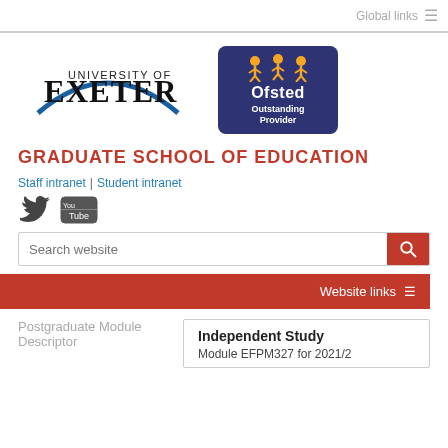Global links ≡
[Figure (logo): University of Exeter logo with blue arc and text]
[Figure (logo): Ofsted Outstanding Provider badge in navy blue with yellow stars]
GRADUATE SCHOOL OF EDUCATION
Staff intranet | Student intranet
[Figure (logo): Twitter bird icon and YouTube logo social media icons]
Search website
Website links ≡
Postgraduate Module
Descriptor
Independent Study
Module EFPM327 for 2021/2